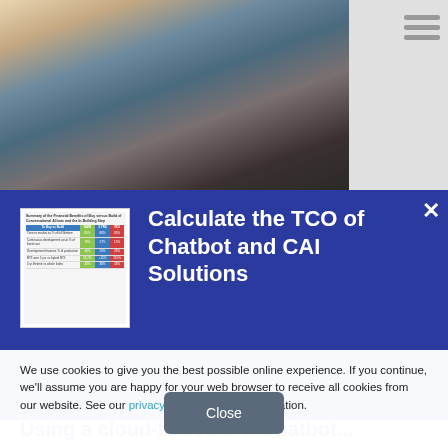[Figure (photo): Woman sitting on a couch excited, looking at smartphone, celebrating, with light background]
[Figure (other): Small thumbnail image of a table/report titled 'Summary of the Financial Benefits of Buy versus Build of Conversational AI bots and the In-Building Step' with a comparison table showing rows and columns with colored headers]
Calculate the TCO of Chatbot and CAI Solutions
We use cookies to give you the best possible online experience. If you continue, we'll assume you are happy for your web browser to receive all cookies from our website. See our privacy policy for more information.
Close